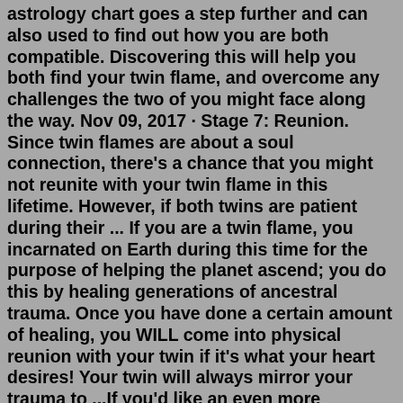astrology chart goes a step further and can also used to find out how you are both compatible. Discovering this will help you both find your twin flame, and overcome any challenges the two of you might face along the way. Nov 09, 2017 · Stage 7: Reunion. Since twin flames are about a soul connection, there's a chance that you might not reunite with your twin flame in this lifetime. However, if both twins are patient during their ... If you are a twin flame, you incarnated on Earth during this time for the purpose of helping the planet ascend; you do this by healing generations of ancestral trauma. Once you have done a certain amount of healing, you WILL come into physical reunion with your twin if it's what your heart desires! Your twin will always mirror your trauma to ...If you'd like an even more accurate and in-depth reading about your love life, be sure to book an astrology or Tarot reading with me here. Read for both your Ascendant (Rising Sign) and Sun Sign below. ... Singles will have a higher likelihood of finding a soulmate or twin flame—someone you may